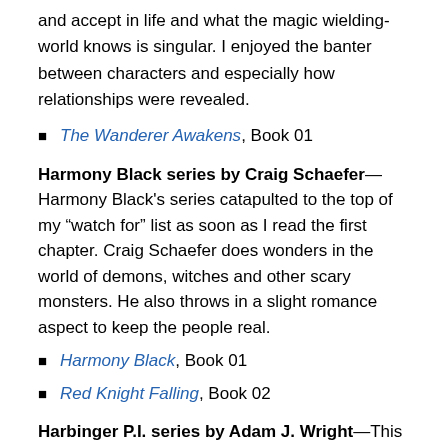and accept in life and what the magic wielding-world knows is singular. I enjoyed the banter between characters and especially how relationships were revealed.
The Wanderer Awakens, Book 01
Harmony Black series by Craig Schaefer—Harmony Black's series catapulted to the top of my “watch for” list as soon as I read the first chapter. Craig Schaefer does wonders in the world of demons, witches and other scary monsters. He also throws in a slight romance aspect to keep the people real.
Harmony Black, Book 01
Red Knight Falling, Book 02
Harbinger P.I. series by Adam J. Wright—This series world is positioned wholly out of the light of day. The